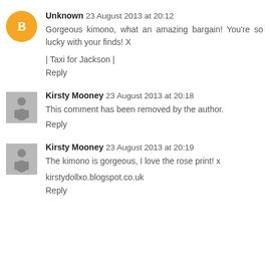Unknown 23 August 2013 at 20:12
Gorgeous kimono, what an amazing bargain! You're so lucky with your finds! X
| Taxi for Jackson |
Reply
Kirsty Mooney 23 August 2013 at 20:18
This comment has been removed by the author.
Reply
Kirsty Mooney 23 August 2013 at 20:19
The kimono is gorgeous, I love the rose print! x
kirstydollxo.blogspot.co.uk
Reply